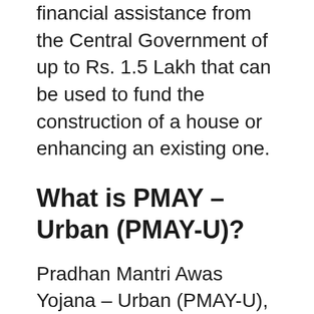financial assistance from the Central Government of up to Rs. 1.5 Lakh that can be used to fund the construction of a house or enhancing an existing one.
What is PMAY – Urban (PMAY-U)?
Pradhan Mantri Awas Yojana – Urban (PMAY-U), As the name suggests, this scheme focuses on providing low-cost, pucca homes to the poor in urban locations across India. The PMAY-U scheme has the same aim as the PMAY scheme to provide the benefits of all (HFA)